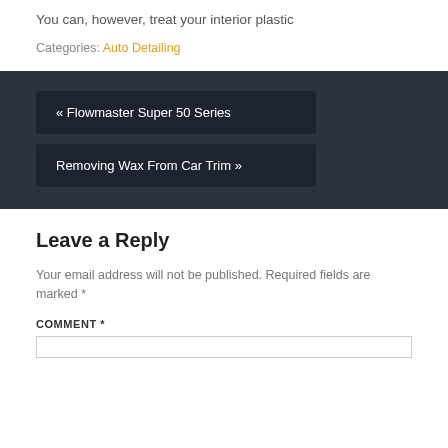You can, however, treat your interior plastic
Categories: Auto Detailing
« Flowmaster Super 50 Series
Removing Wax From Car Trim »
Leave a Reply
Your email address will not be published. Required fields are marked *
COMMENT *